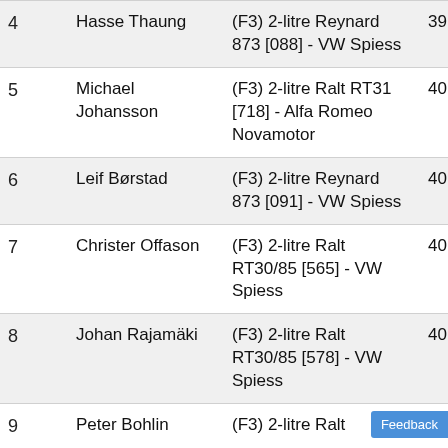| # | Driver | Car | Time |
| --- | --- | --- | --- |
| 4 | Hasse Thaung | (F3) 2-litre Reynard 873 [088] - VW Spiess | 39.982s |
| 5 | Michael Johansson | (F3) 2-litre Ralt RT31 [718] - Alfa Romeo Novamotor | 40.181s |
| 6 | Leif Børstad | (F3) 2-litre Reynard 873 [091] - VW Spiess | 40.349s |
| 7 | Christer Offason | (F3) 2-litre Ralt RT30/85 [565] - VW Spiess | 40.434s |
| 8 | Johan Rajamäki | (F3) 2-litre Ralt RT30/85 [578] - VW Spiess | 40.452s |
| 9 | Peter Bohlin | (F3) 2-litre Ralt | 40.495s |